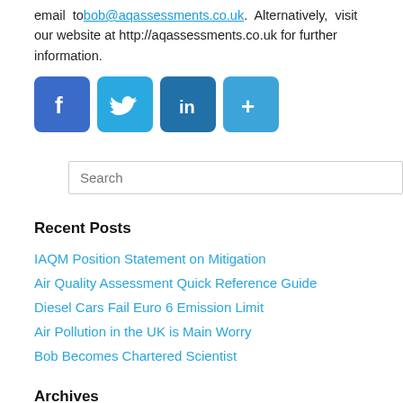email to bob@aqassessments.co.uk. Alternatively, visit our website at http://aqassessments.co.uk for further information.
[Figure (illustration): Social media sharing icons: Facebook, Twitter, LinkedIn, and a plus/share button]
Search
Recent Posts
IAQM Position Statement on Mitigation
Air Quality Assessment Quick Reference Guide
Diesel Cars Fail Euro 6 Emission Limit
Air Pollution in the UK is Main Worry
Bob Becomes Chartered Scientist
Archives
February 2015